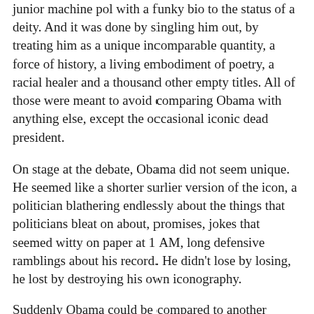junior machine pol with a funky bio to the status of a deity. And it was done by singling him out, by treating him as a unique incomparable quantity, a force of history, a living embodiment of poetry, a racial healer and a thousand other empty titles. All of those were meant to avoid comparing Obama with anything else, except the occasional iconic dead president.
On stage at the debate, Obama did not seem unique. He seemed like a shorter surlier version of the icon, a politician blathering endlessly about the things that politicians bleat on about, promises, jokes that seemed witty on paper at 1 AM, long defensive ramblings about his record. He didn't lose by losing, he lost by destroying his own iconography.
Suddenly Obama could be compared to another human being. Suddenly he was standing next to that human being and fumbling with his lines and looking withered. Suddenly he was not a trend, an icon, a glorious new future, but only human. Suddenly there was nothing special about him at all.
Every rock star, every shiny new writer, every bright new